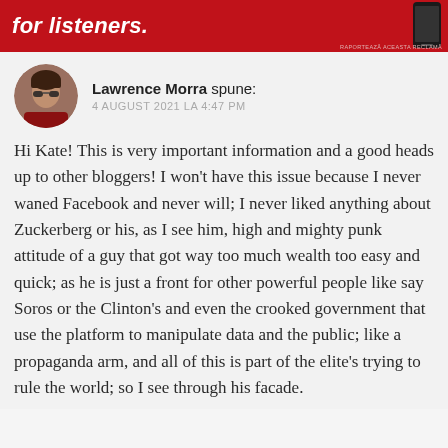[Figure (other): Red advertisement banner with white bold italic text 'for listeners.' and a phone/device image on the right, with small grey label text at bottom right: 'RAPORTEAZĂ ACEASTA RECLAMĂ']
Lawrence Morra spune:
4 AUGUST 2021 LA 4:47 PM
Hi Kate! This is very important information and a good heads up to other bloggers! I won't have this issue because I never waned Facebook and never will; I never liked anything about Zuckerberg or his, as I see him, high and mighty punk attitude of a guy that got way too much wealth too easy and quick; as he is just a front for other powerful people like say Soros or the Clinton's and even the crooked government that use the platform to manipulate data and the public; like a propaganda arm, and all of this is part of the elite's trying to rule the world; so I see through his facade.